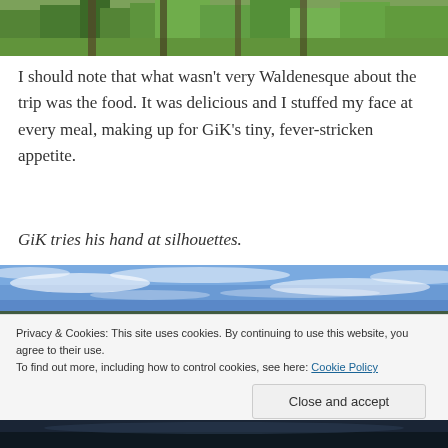[Figure (photo): Top portion of a lush green forest scene with trees and tropical vegetation]
I should note that what wasn’t very Waldenesque about the trip was the food. It was delicious and I stuffed my face at every meal, making up for GiK’s tiny, fever-stricken appetite.
GiK tries his hand at silhouettes.
[Figure (photo): Blue sky with wispy clouds, panoramic view]
Privacy & Cookies: This site uses cookies. By continuing to use this website, you agree to their use.
To find out more, including how to control cookies, see here: Cookie Policy
[Figure (photo): Bottom strip of a dark nighttime or sunset scene]